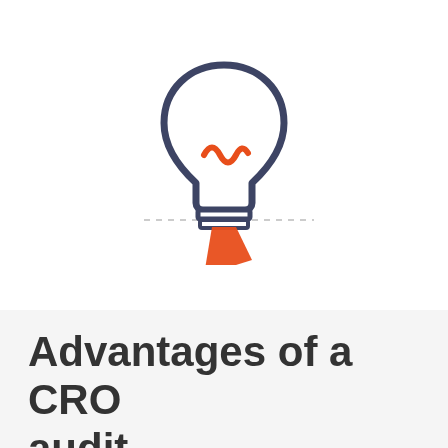[Figure (illustration): A light bulb icon with a dark navy outline and an orange rocket flame/pencil tip at the bottom, suggesting ideas or innovation. The bulb has an orange squiggly filament inside. A faint dotted line extends horizontally from the lower portion.]
Advantages of a CRO audit